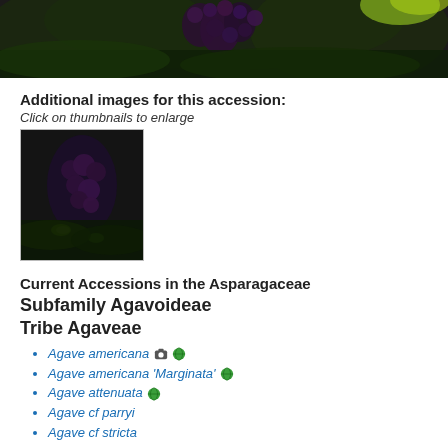[Figure (photo): Close-up photograph of dark purple/black plant berries or flower buds with green foliage, cropped at top of page]
Additional images for this accession:
Click on thumbnails to enlarge
[Figure (photo): Thumbnail of same dark purple/black plant with green glowing spots against dark background]
Current Accessions in the Asparagaceae
Subfamily Agavoideae
Tribe Agaveae
Agave americana [camera] [globe]
Agave americana 'Marginata' [globe]
Agave attenuata [globe]
Agave cf parryi
Agave cf stricta
Agave cf. titanota
Agave geminiflora W/C
Agave guiengola W/C [globe]
Agave murpheyi [globe]